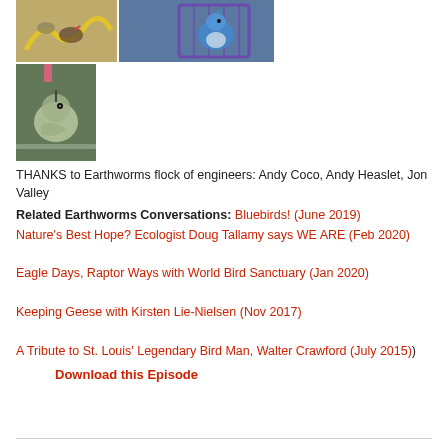[Figure (photo): Two bird photos side by side: left shows birds with yellow snake/rope, right shows a blue jay in a purple cage]
[Figure (photo): Close-up photo of a hummingbird being held or in a container]
THANKS to Earthworms flock of engineers: Andy Coco, Andy Heaslet, Jon Valley
Related Earthworms Conversations: Bluebirds! (June 2019)
Nature's Best Hope? Ecologist Doug Tallamy says WE ARE (Feb 2020)
Eagle Days, Raptor Ways with World Bird Sanctuary (Jan 2020)
Keeping Geese with Kirsten Lie-Nielsen (Nov 2017)
A Tribute to St. Louis' Legendary Bird Man, Walter Crawford (July 2015)
Download this Episode